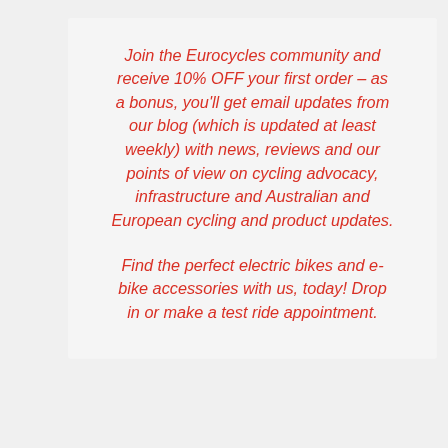Join the Eurocycles community and receive 10% OFF your first order – as a bonus, you'll get email updates from our blog (which is updated at least weekly) with news, reviews and our points of view on cycling advocacy, infrastructure and Australian and European cycling and product updates.
Find the perfect electric bikes and e-bike accessories with us, today! Drop in or make a test ride appointment.